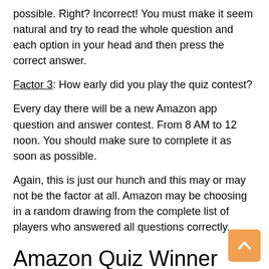possible. Right? Incorrect! You must make it seem natural and try to read the whole question and each option in your head and then press the correct answer.
Factor 3: How early did you play the quiz contest?
Every day there will be a new Amazon app question and answer contest. From 8 AM to 12 noon. You should make sure to complete it as soon as possible.
Again, this is just our hunch and this may or may not be the factor at all. Amazon may be choosing in a random drawing from the complete list of players who answered all questions correctly.
Amazon Quiz Winner test
Source: Quora
Many users think that the Amazon Quiz is nothing more than a scam contest. But that is simply not correct.